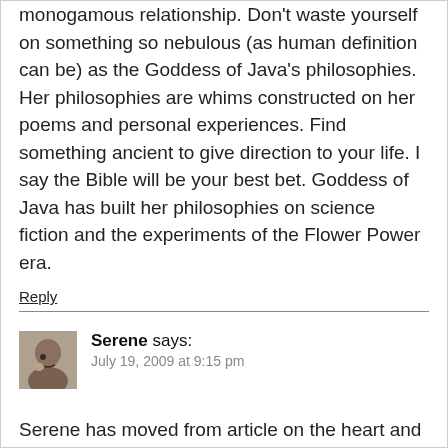monogamous relationship. Don't waste yourself on something so nebulous (as human definition can be) as the Goddess of Java's philosophies. Her philosophies are whims constructed on her poems and personal experiences. Find something ancient to give direction to your life. I say the Bible will be your best bet. Goddess of Java has built her philosophies on science fiction and the experiments of the Flower Power era.
Reply
Serene says:
July 19, 2009 at 9:15 pm
Serene has moved from article on the heart and